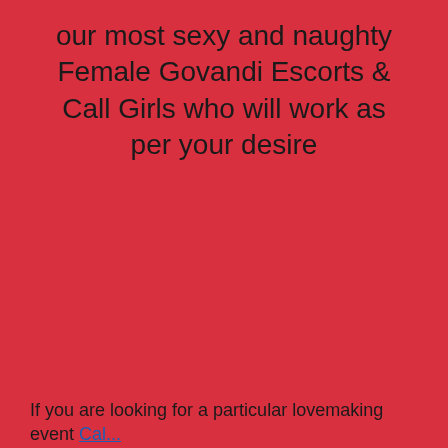our most sexy and naughty Female Govandi Escorts & Call Girls who will work as per your desire
If you are looking for a particular lovemaking event...